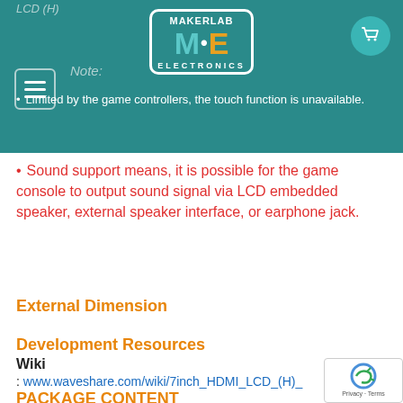LCD (H)
[Figure (logo): MakerLab Electronics logo with stylized M and E letters, teal and orange colors, on teal banner background with hamburger menu and cart icon]
Note:
Limited by the game controllers, the touch function is unavailable.
Sound support means, it is possible for the game console to output sound signal via LCD embedded speaker, external speaker interface, or earphone jack.
External Dimension
Development Resources
Wiki
: www.waveshare.com/wiki/7inch_HDMI_LCD_(H)_
PACKAGE CONTENT